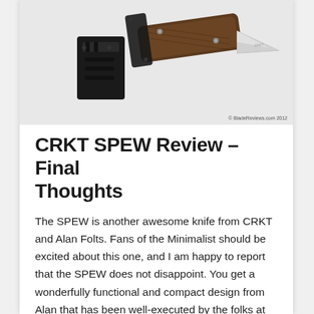[Figure (photo): Photo of a CRKT SPEW fixed blade knife with micarta handle and a black kydex/molded belt clip sheath, displayed on a white background. Copyright BladeReviews.com 2012.]
CRKT SPEW Review – Final Thoughts
The SPEW is another awesome knife from CRKT and Alan Folts. Fans of the Minimalist should be excited about this one, and I am happy to report that the SPEW does not disappoint. You get a wonderfully functional and compact design from Alan that has been well-executed by the folks at CRKT. I like the